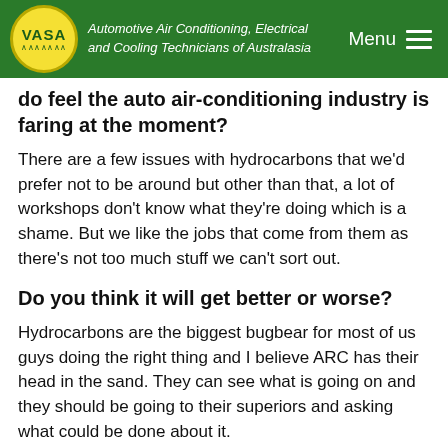VASA – Automotive Air Conditioning, Electrical and Cooling Technicians of Australasia | Menu
do feel the auto air-conditioning industry is faring at the moment?
There are a few issues with hydrocarbons that we'd prefer not to be around but other than that, a lot of workshops don't know what they're doing which is a shame. But we like the jobs that come from them as there's not too much stuff we can't sort out.
Do you think it will get better or worse?
Hydrocarbons are the biggest bugbear for most of us guys doing the right thing and I believe ARC has their head in the sand. They can see what is going on and they should be going to their superiors and asking what could be done about it.
What is your view on the use of the new R1234yf refrigerant?